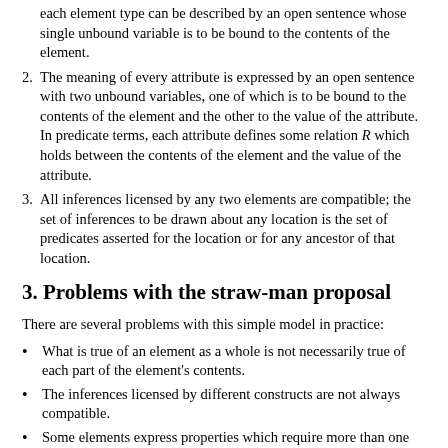each element type can be described by an open sentence whose single unbound variable is to be bound to the contents of the element.
The meaning of every attribute is expressed by an open sentence with two unbound variables, one of which is to be bound to the contents of the element and the other to the value of the attribute. In predicate terms, each attribute defines some relation R which holds between the contents of the element and the value of the attribute.
All inferences licensed by any two elements are compatible; the set of inferences to be drawn about any location is the set of predicates asserted for the location or for any ancestor of that location.
3. Problems with the straw-man proposal
There are several problems with this simple model in practice:
What is true of an element as a whole is not necessarily true of each part of the element's contents.
The inferences licensed by different constructs are not always compatible.
Some elements express properties which require more than one argument; some attributes express properties with more than two arguments.